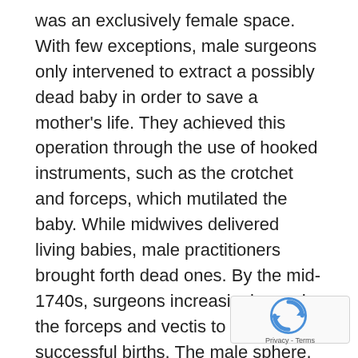was an exclusively female space. With few exceptions, male surgeons only intervened to extract a possibly dead baby in order to save a mother's life. They achieved this operation through the use of hooked instruments, such as the crotchet and forceps, which mutilated the baby. While midwives delivered living babies, male practitioners brought forth dead ones. By the mid-1740s, surgeons increasingly used the forceps and vectis to achieve successful births. The male sphere, thus, moved from traditional obstetric surgery to the new "man-midwifery." The need for instruction on the forceps' effective use soon resulted in the emergence of lying-in hospitals that increasingly gave men access to normal births.
The establishment of a "lying-in-fund" induced poor mothers to submit themselves as teaching specimens to